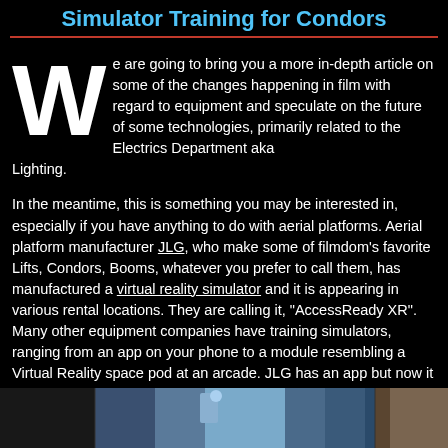Simulator Training for Condors
We are going to bring you a more in-depth article on some of the changes happening in film with regard to equipment and speculate on the future of some technologies, primarily related to the Electrics Department aka Lighting.
In the meantime, this is something you may be interested in, especially if you have anything to do with aerial platforms. Aerial platform manufacturer JLG, who make some of filmdom's favorite Lifts, Condors, Booms, whatever you prefer to call them, has manufactured a virtual reality simulator and it is appearing in various rental locations. They are calling it, “AccessReady XR”. Many other equipment companies have training simulators, ranging from an app on your phone to a module resembling a Virtual Reality space pod at an arcade. JLG has an app but now it has a neat and tidy package and some impressive software.
[Figure (photo): Bottom strip photo showing a virtual reality simulator environment with blue tones and equipment, with a brown/wood-toned element on the right side.]